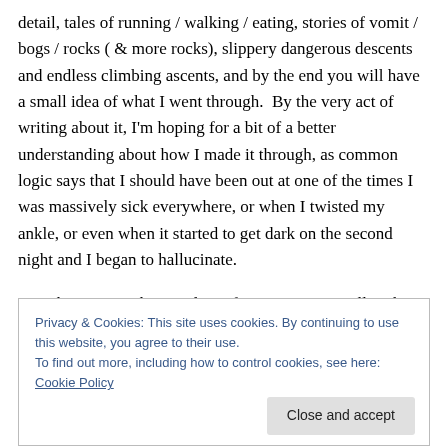detail, tales of running / walking / eating, stories of vomit / bogs / rocks ( & more rocks), slippery dangerous descents and endless climbing ascents, and by the end you will have a small idea of what I went through.  By the very act of writing about it, I'm hoping for a bit of a better understanding about how I made it through, as common logic says that I should have been out at one of the times I was massively sick everywhere, or when I twisted my ankle, or even when it started to get dark on the second night and I began to hallucinate.
So, why was I at the start line of a race in Cornwall?  The Arc of
Privacy & Cookies: This site uses cookies. By continuing to use this website, you agree to their use.
To find out more, including how to control cookies, see here: Cookie Policy
[Close and accept]
...